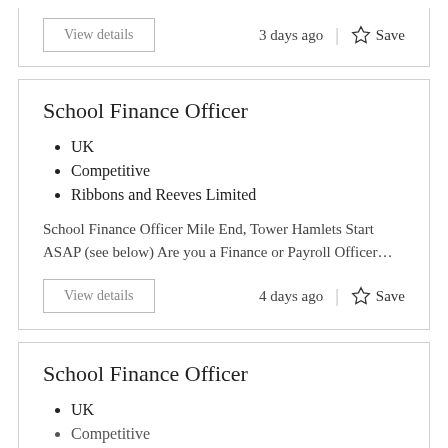View details
3 days ago
Save
School Finance Officer
UK
Competitive
Ribbons and Reeves Limited
School Finance Officer Mile End, Tower Hamlets Start ASAP (see below) Are you a Finance or Payroll Officer…
View details
4 days ago
Save
School Finance Officer
UK
Competitive